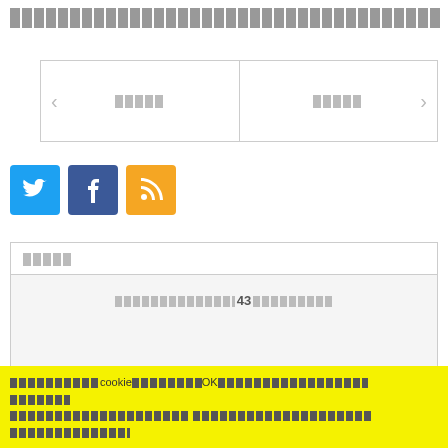[redacted title text]
[Figure (other): Navigation box with left/right arrows and two redacted labels]
[Figure (other): Social media icons: Twitter (blue), Facebook (dark blue), RSS (orange)]
| [redacted] |
| --- |
| [redacted text with 43] |
[redacted cookie notice with OK button and additional redacted text]